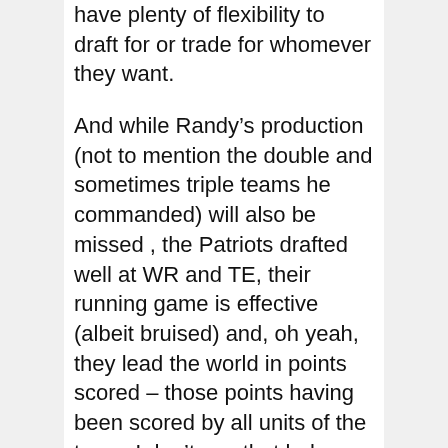have plenty of flexibility to draft for or trade for whomever they want.
And while Randy's production (not to mention the double and sometimes triple teams he commanded) will also be missed , the Patriots drafted well at WR and TE, their running game is effective (albeit bruised) and, oh yeah, they lead the world in points scored – those points having been scored by all units of the team. I don't see that balance being destroyed by the Moss trade, especially as the defense continues to improve.
Let's wait a few weeks to see how